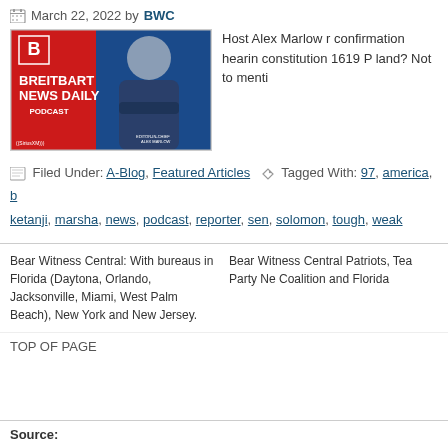March 22, 2022 by BWC
[Figure (photo): Breitbart News Daily Podcast logo/banner with host Alex Marlow, SiriusXM, Editor-in-Chief label]
Host Alex Marlow recaps confirmation hearing constitution 1619 P land? Not to menti
Filed Under: A-Blog, Featured Articles Tagged With: 97, america, b ketanji, marsha, news, podcast, reporter, sen, solomon, tough, weak
Bear Witness Central: With bureaus in Florida (Daytona, Orlando, Jacksonville, Miami, West Palm Beach), New York and New Jersey.
Bear Witness Central Patriots, Tea Party Ne Coalition and Florida
TOP OF PAGE
Source: